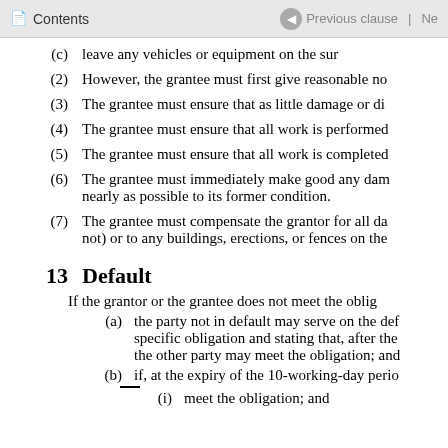Contents | Previous clause | Ne
(c)   leave any vehicles or equipment on the sur...
(2)   However, the grantee must first give reasonable no...
(3)   The grantee must ensure that as little damage or di...
(4)   The grantee must ensure that all work is performed...
(5)   The grantee must ensure that all work is completed...
(6)   The grantee must immediately make good any dam... nearly as possible to its former condition.
(7)   The grantee must compensate the grantor for all da... not) or to any buildings, erections, or fences on the...
13   Default
If the grantor or the grantee does not meet the obli...
(a)   the party not in default may serve on the def... specific obligation and stating that, after the... the other party may meet the obligation; and
(b)   if, at the expiry of the 10-working-day perio...
(i)   meet the obligation; and